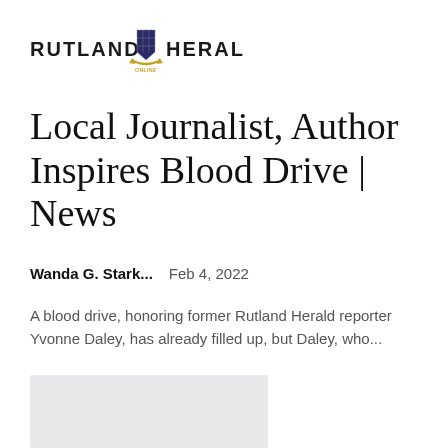[Figure (logo): Rutland Herald Online logo with shield emblem and golden ribbon banner]
Local Journalist, Author Inspires Blood Drive | News
Wanda G. Stark...    Feb 4, 2022
A blood drive, honoring former Rutland Herald reporter Yvonne Daley, has already filled up, but Daley, who...
[Figure (photo): Gray placeholder image box]